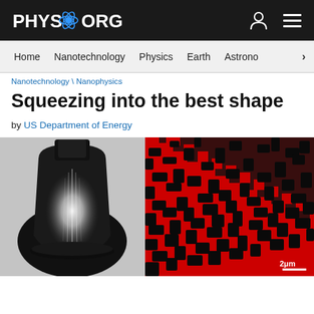PHYS.ORG
Home  Nanotechnology  Physics  Earth  Astronomy  >
Nanotechnology \ Nanophysics
Squeezing into the best shape
by US Department of Energy
[Figure (photo): 3D render of a dark bulb-shaped compression nozzle on a gray background]
[Figure (photo): Microscopy image showing red and black nanoscale pattern with 2μm scale bar]